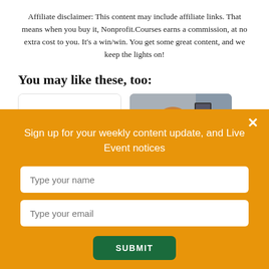Affiliate disclaimer: This content may include affiliate links. That means when you buy it, Nonprofit.Courses earns a commission, at no extra cost to you. It's a win/win. You get some great content, and we keep the lights on!
You may like these, too:
[Figure (other): Two content cards side by side: left card shows a large letter T and a hook/question mark icon on white background; right card shows a smiling person (photo) on a blurred office background]
[Figure (infographic): Orange popup overlay with close X button, headline 'Sign up for your weekly content update, and Live Event notices', a name input field, an email input field, and a green SUBMIT button]